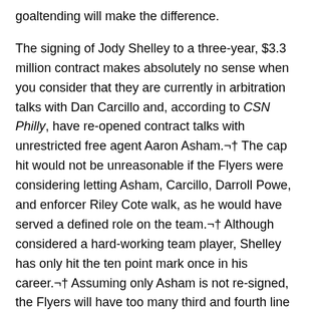goaltending will make the difference.
The signing of Jody Shelley to a three-year, $3.3 million contract makes absolutely no sense when you consider that they are currently in arbitration talks with Dan Carcillo and, according to CSN Philly, have re-opened contract talks with unrestricted free agent Aaron Asham.¬† The cap hit would not be unreasonable if the Flyers were considering letting Asham, Carcillo, Darroll Powe, and enforcer Riley Cote walk, as he would have served a defined role on the team.¬† Although considered a hard-working team player, Shelley has only hit the ten point mark once in his career.¬† Assuming only Asham is not re-signed, the Flyers will have too many third and fourth line players eating salary under contract.